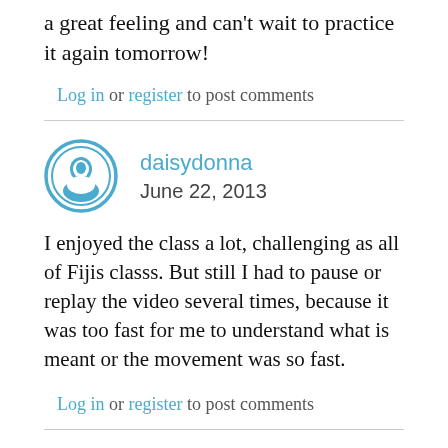a great feeling and can't wait to practice it again tomorrow!
Log in or register to post comments
daisydonna
June 22, 2013
I enjoyed the class a lot, challenging as all of Fijis classs. But still I had to pause or replay the video several times, because it was too fast for me to understand what is meant or the movement was so fast.
Log in or register to post comments
plutonnia
June 16, 2013